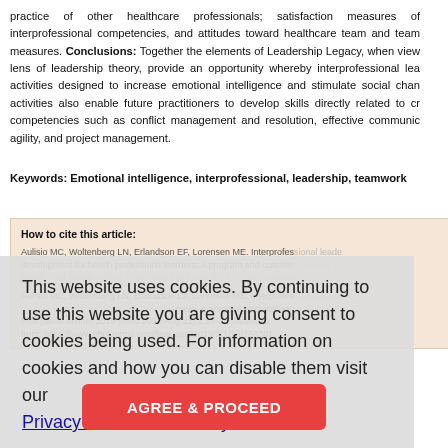practice of other healthcare professionals; satisfaction measures of interprofessional competencies, and attitudes toward healthcare team and team measures. Conclusions: Together the elements of Leadership Legacy, when viewed through the lens of leadership theory, provide an opportunity whereby interprofessional learning activities designed to increase emotional intelligence and stimulate social change. These activities also enable future practitioners to develop skills directly related to crucial competencies such as conflict management and resolution, effective communication, agility, and project management.
Keywords: Emotional intelligence, interprofessional, leadership, teamwork
How to cite this article: Aulisio MC, Woltenberg LN, Erlandson EF, Lorensen ME. Interprofessional leadership development for health professions learners: A program and outcomes review. Education in the Health Professions [serial online] 2019 [cited 2022 Aug 21];2:19-26. Available from: https://www.ehpjournal.com/text.asp?2019/2/1/19/259381
This website uses cookies. By continuing to use this website you are giving consent to cookies being used. For information on cookies and how you can disable them visit our Privacy and Cookie Policy.
AGREE & PROCEED